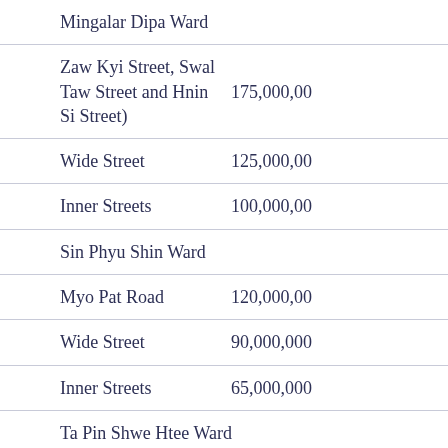|  | Location | Value |
| --- | --- | --- |
|  | Mingalar Dipa Ward |  |
|  | Zaw Kyi Street, Swal Taw Street and Hnin Si Street) | 175,000,00 |
|  | Wide Street | 125,000,00 |
|  | Inner Streets | 100,000,00 |
|  | Sin Phyu Shin Ward |  |
|  | Myo Pat Road | 120,000,00 |
|  | Wide Street | 90,000,000 |
|  | Inner Streets | 65,000,000 |
|  | Ta Pin Shwe Htee Ward |  |
|  | Myo Pat Road | 100,000,00 |
|  | Wide Street | 75,000,000 |
|  | Inner Streets | 65,000,00 |